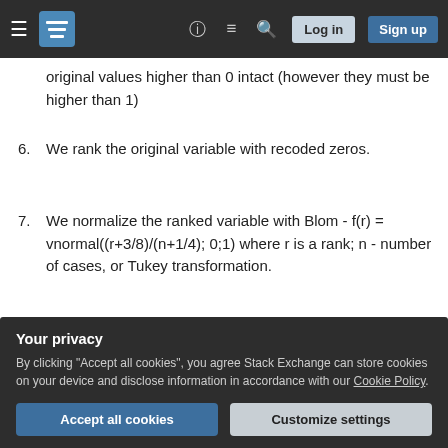Stack Exchange navigation bar with hamburger menu, logo, help, discuss, search icons, Log in and Sign up buttons
original values higher than 0 intact (however they must be higher than 1)
6. We rank the original variable with recoded zeros.
7. We normalize the ranked variable with Blom - f(r) = vnormal((r+3/8)/(n+1/4); 0;1) where r is a rank; n - number of cases, or Tukey transformation.
Share   Cite                                          edited Nov 30, 2020 at 12:13
Your privacy
By clicking "Accept all cookies", you agree Stack Exchange can store cookies on your device and disclose information in accordance with our Cookie Policy.